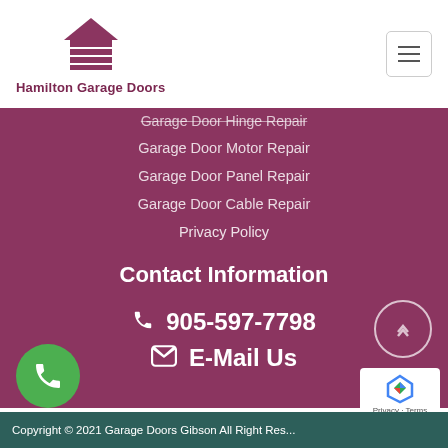[Figure (logo): Hamilton Garage Doors logo with house/garage icon in dark red/maroon]
Garage Door Hinge Repair
Garage Door Motor Repair
Garage Door Panel Repair
Garage Door Cable Repair
Privacy Policy
Contact Information
905-597-7798
E-Mail Us
Copyright © 2021 Garage Doors Gibson All Right Res...